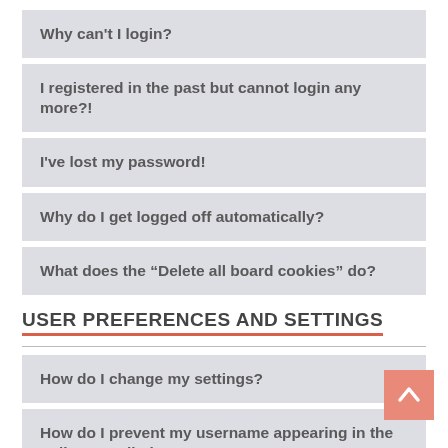Why can't I login?
I registered in the past but cannot login any more?!
I've lost my password!
Why do I get logged off automatically?
What does the “Delete all board cookies” do?
USER PREFERENCES AND SETTINGS
How do I change my settings?
How do I prevent my username appearing in the online user listings?
The times are not correct!